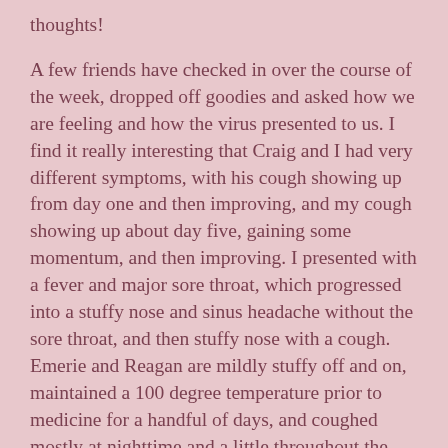thoughts!
A few friends have checked in over the course of the week, dropped off goodies and asked how we are feeling and how the virus presented to us. I find it really interesting that Craig and I had very different symptoms, with his cough showing up from day one and then improving, and my cough showing up about day five, gaining some momentum, and then improving. I presented with a fever and major sore throat, which progressed into a stuffy nose and sinus headache without the sore throat, and then stuffy nose with a cough. Emerie and Reagan are mildly stuffy off and on, maintained a 100 degree temperature prior to medicine for a handful of days, and coughed mostly at nighttime and a little throughout the day. Harper maintained no fever, stuffy nose or cough throughout the entire event!